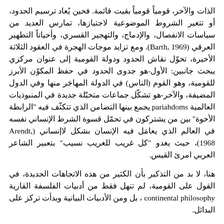الذات والآخر، قومياً قومياً بقيت قائمة. فحين يُعاد ترسيم الحدود، أو تتغير الشروط الموضوعية لاجتيازها، تمارس العديد من سياسات الانفصال، والإدماج، والتهجير القسري، وأحياناً التطهير العرقي (Barth, 1969). ومع تزايد موجات الهجرة في العقود الثلاثة الأخيرة، تحوّل نقاش الحدود ودولة القومية إلى عنوان مركزي يبحث جانبين: الأول-هو جدوى الحدود في حفظ المكوّن الأبرز للقومية، وهو القوم (الناس) في الدولة المهاجَر منها وفي الدول المضيفة، والآخر-هو تشكّل جماعات متخيّلة جديدة في المنبوذيات العالمية pariahdoms يجمع بينها التضامن الذي تتكثّف فيه "الرابطة الأخوة" بين من يشتركون في تحمّل قسوة الشرط الإنساني نفسه في العالم الذي يعامَل فيه الإنسان بشكل لاإنساني (Arendt, 1968)، حيث يغدو "كل غريب للغريب نسيب" بتعبير الشاعر العربي امرئ القيس.
هنا، لا بد من التذكير بأن الكثير من هذه الاتجاهات الجديدة، في القول على القومية، لم تنهل فقط من أدبيات الفلسفة القارية continental philosophy، بل ومن الأدبيات البيانية وبدأت تركز على البدائل.